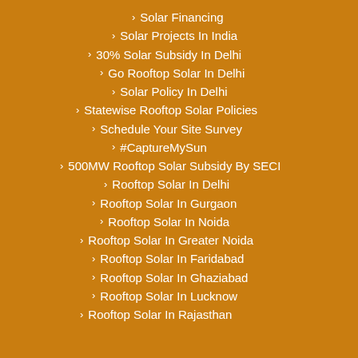Solar Financing
Solar Projects In India
30% Solar Subsidy In Delhi
Go Rooftop Solar In Delhi
Solar Policy In Delhi
Statewise Rooftop Solar Policies
Schedule Your Site Survey
#CaptureMySun
500MW Rooftop Solar Subsidy By SECI
Rooftop Solar In Delhi
Rooftop Solar In Gurgaon
Rooftop Solar In Noida
Rooftop Solar In Greater Noida
Rooftop Solar In Faridabad
Rooftop Solar In Ghaziabad
Rooftop Solar In Lucknow
Rooftop Solar In Rajasthan